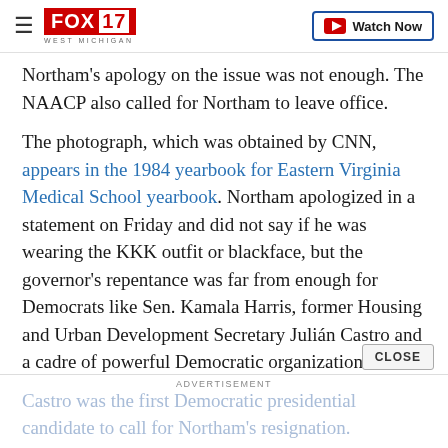FOX 17 WEST MICHIGAN — Watch Now
Northam's apology on the issue was not enough. The NAACP also called for Northam to leave office.
The photograph, which was obtained by CNN, appears in the 1984 yearbook for Eastern Virginia Medical School yearbook. Northam apologized in a statement on Friday and did not say if he was wearing the KKK outfit or blackface, but the governor's repentance was far from enough for Democrats like Sen. Kamala Harris, former Housing and Urban Development Secretary Julián Castro and a cadre of powerful Democratic organizations.
ADVERTISEMENT
Castro was the first Democratic presidential candidate to call for Northam's resignation.